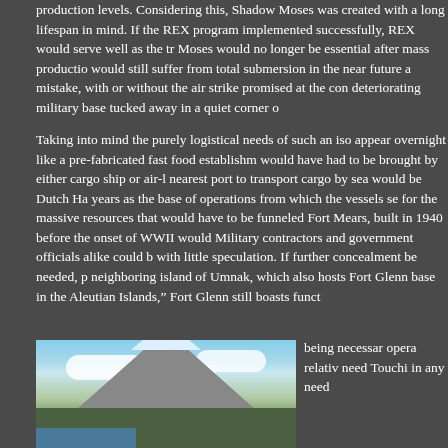production levels. Considering this, Shadow Moses was created with a long lifespan in mind. If the REX program implemented successfully, REX would serve well as the t... Moses would no longer be essential after mass productio... would still suffer from total submersion in the near future a... mistake, with or without the air strike promised at the con... deteriorating military base tucked away in a quiet corner o...
Taking into mind the purely logistical needs of such an iso... appear overnight like a pre-fabricated fast food establishm... would have had to be brought by either cargo ship or air-l... nearest port to transport cargo by sea would be Dutch Ha... years as the base of operations from which the vessels se... for the massive resources that would have to be funneled... Fort Mears, built in 1940 before the onset of WWII would... Military contractors and government officials alike could b... with little speculation. If further concealment be needed, p... neighboring island of Umnak, which also hosts Fort Glenn... base in the Aleutian Islands," Fort Glenn still boasts funct...
[Figure (photo): Photograph of a snow-capped mountain (likely a volcano) in the Aleutian Islands, with clouds in the sky and green terrain in the foreground near water.]
being... neces... opera... relati... need... Touch... in any... need...